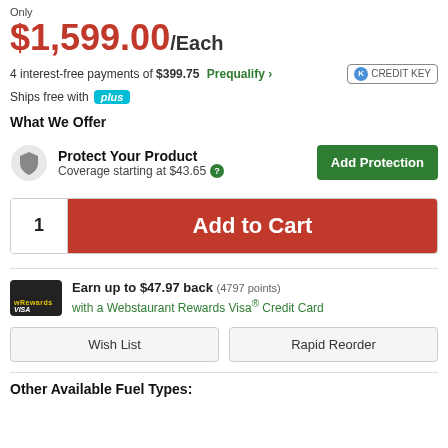Only
$1,599.00/Each
4 interest-free payments of $399.75 Prequalify > CREDIT KEY
Ships free with plus
What We Offer
Protect Your Product
Coverage starting at $43.65
Add Protection
1  Add to Cart
Earn up to $47.97 back (4797 points)
with a Webstaurant Rewards Visa® Credit Card
Wish List
Rapid Reorder
Other Available Fuel Types: